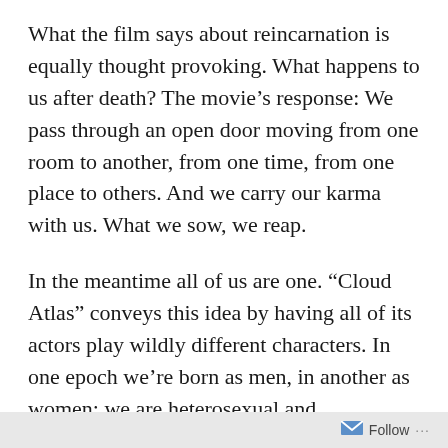What the film says about reincarnation is equally thought provoking. What happens to us after death? The movie’s response: We pass through an open door moving from one room to another, from one time, from one place to others. And we carry our karma with us. What we sow, we reap.
In the meantime all of us are one. “Cloud Atlas” conveys this idea by having all of its actors play wildly different characters. In one epoch we’re born as men, in another as women; we are heterosexual and homosexual; we are black and white, Asian and European; we are clones; we are primitives and technological wizards; we are heroic; we are knaves. In hating others belonging to any of those categories, we hate ourselves. Our loathing will come back to haunt us shaping both our destinies and that of our planet.
Follow